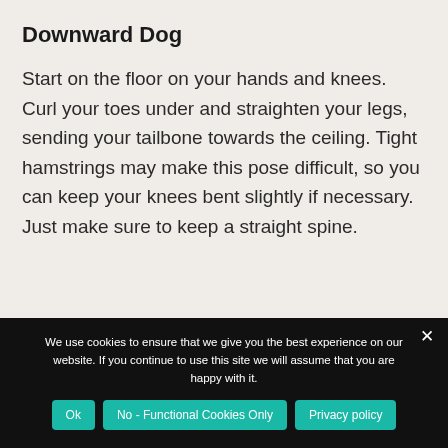Downward Dog
Start on the floor on your hands and knees. Curl your toes under and straighten your legs, sending your tailbone towards the ceiling. Tight hamstrings may make this pose difficult, so you can keep your knees bent slightly if necessary. Just make sure to keep a straight spine.
We use cookies to ensure that we give you the best experience on our website. If you continue to use this site we will assume that you are happy with it.